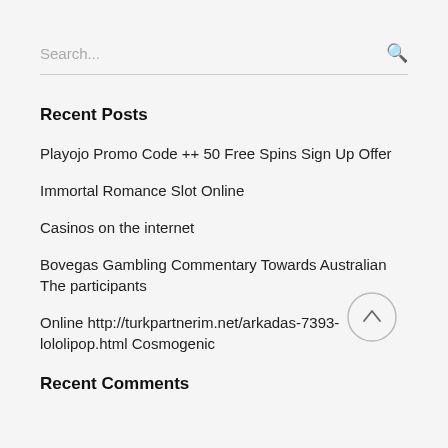Search...
Recent Posts
Playojo Promo Code ++ 50 Free Spins Sign Up Offer
Immortal Romance Slot Online
Casinos on the internet
Bovegas Gambling Commentary Towards Australian The participants
Online http://turkpartnerim.net/arkadas-7393-lololipop.html Cosmogenic
Recent Comments